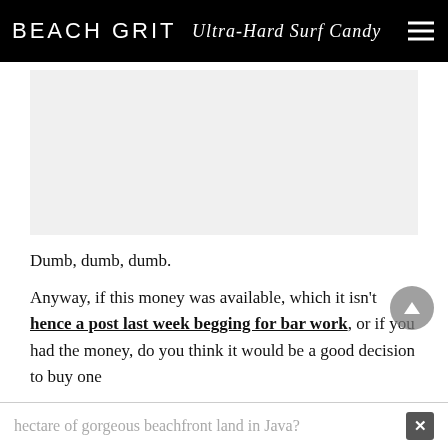BEACH GRIT Ultra-Hard Surf Candy
[Figure (other): Advertisement placeholder, light gray rectangle]
Dumb, dumb, dumb.
Anyway, if this money was available, which it isn't hence a post last week begging for bar work, or if you had the money, do you think it would be a good decision to buy one hectare of gorgeous beachfront land in Java?